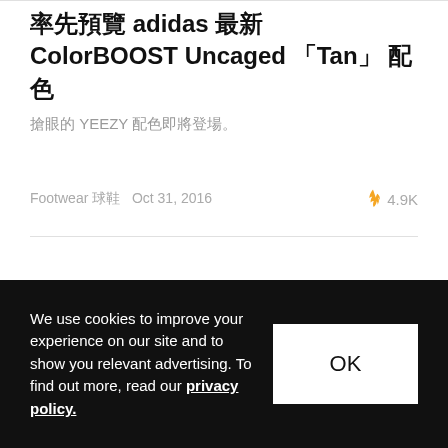率先預覽 adidas 最新 ColorBOOST Uncaged 「Tan」 配色
搶眼的 YEEZY 配色即將登場。
Footwear 球鞋   Oct 31, 2016   🔥 4.9K
We use cookies to improve your experience on our site and to show you relevant advertising. To find out more, read our privacy policy.